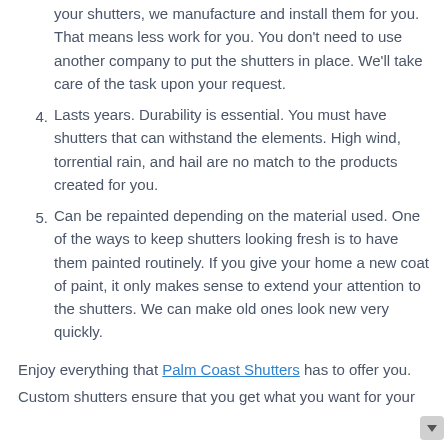your shutters, we manufacture and install them for you. That means less work for you. You don't need to use another company to put the shutters in place. We'll take care of the task upon your request.
4. Lasts years. Durability is essential. You must have shutters that can withstand the elements. High wind, torrential rain, and hail are no match to the products created for you.
5. Can be repainted depending on the material used. One of the ways to keep shutters looking fresh is to have them painted routinely. If you give your home a new coat of paint, it only makes sense to extend your attention to the shutters. We can make old ones look new very quickly.
Enjoy everything that Palm Coast Shutters has to offer you. Custom shutters ensure that you get what you want for your